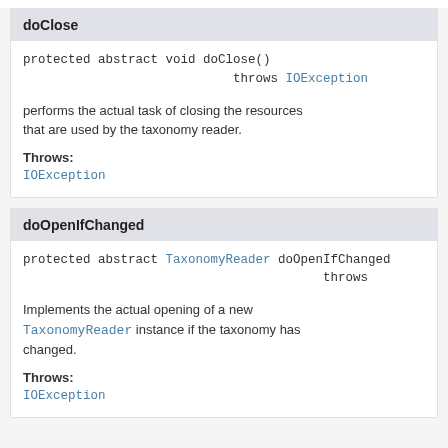doClose
protected abstract void doClose()
                            throws IOException
performs the actual task of closing the resources that are used by the taxonomy reader.
Throws:
IOException
doOpenIfChanged
protected abstract TaxonomyReader doOpenIfChanged
                                        throws
Implements the actual opening of a new TaxonomyReader instance if the taxonomy has changed.
Throws:
IOException